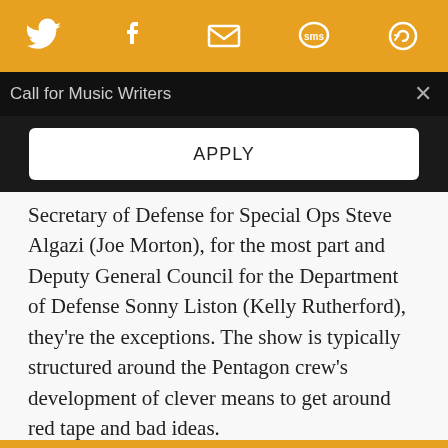Social sharing bar with Twitter, Facebook, Email, SMS, and another icon
Call for Music Writers
APPLY
Secretary of Defense for Special Ops Steve Algazi (Joe Morton), for the most part and Deputy General Council for the Department of Defense Sonny Liston (Kelly Rutherford), they're the exceptions. The show is typically structured around the Pentagon crew's development of clever means to get around red tape and bad ideas.
This episode follows suit. McNulty and best boy Major Jim Tisnewski (Benjamin Bratt), Special Forces veteran back from 14 months in Afghanistan